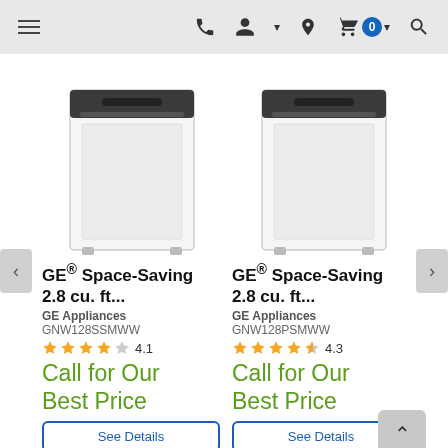Navigation bar with menu, phone, account, location, cart (0), and search icons
[Figure (photo): GE top-load washer, white with dark lid, model GNW128SSMWW]
GE® Space-Saving 2.8 cu. ft...
GE Appliances GNW128SSMWW
4.1 stars
Call for Our Best Price
See Details
[Figure (photo): GE top-load washer, white with dark lid, model GNW128PSMWW]
GE® Space-Saving 2.8 cu. ft...
GE Appliances GNW128PSMWW
4.3 stars
Call for Our Best Price
See Details